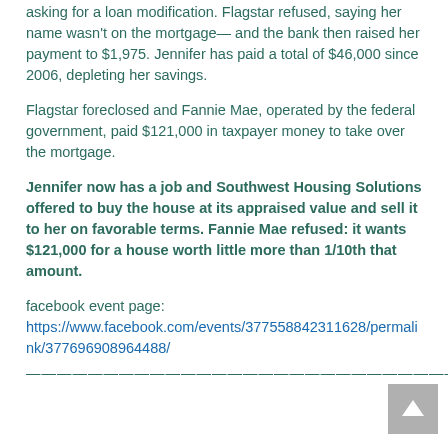asking for a loan modification. Flagstar refused, saying her name wasn't on the mortgage— and the bank then raised her payment to $1,975. Jennifer has paid a total of $46,000 since 2006, depleting her savings.
Flagstar foreclosed and Fannie Mae, operated by the federal government, paid $121,000 in taxpayer money to take over the mortgage.
Jennifer now has a job and Southwest Housing Solutions offered to buy the house at its appraised value and sell it to her on favorable terms. Fannie Mae refused: it wants $121,000 for a house worth little more than 1/10th that amount.
facebook event page: https://www.facebook.com/events/377558842311628/permalink/377696908964488/
————————————————————————————